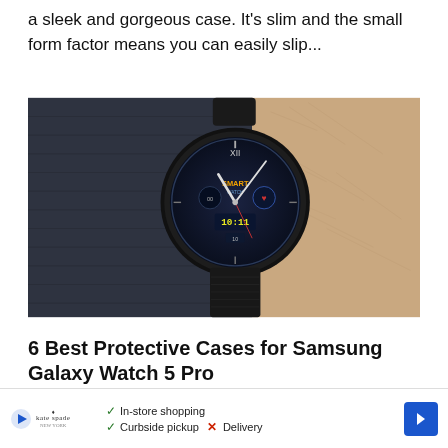a sleek and gorgeous case. It's slim and the small form factor means you can easily slip...
[Figure (photo): A Samsung smart watch with round black case and dark band worn on a wrist, showing a smart watch face display with 'SMART' text and clock hands]
6 Best Protective Cases for Samsung Galaxy Watch 5 Pro
Here are some of the best cases for the Galaxy Watch 5 Pro
In-store shopping  Curbside pickup  X Delivery